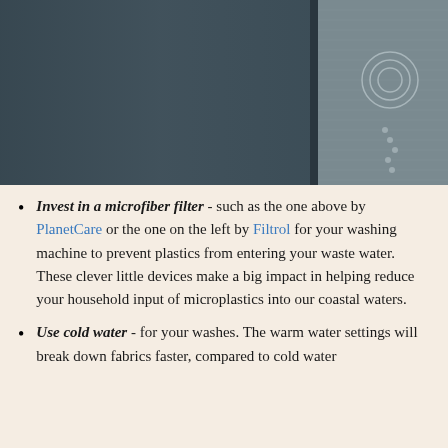[Figure (photo): Close-up photograph of a dark grey washing machine filter or appliance panel with a translucent/mesh curtain or filter material visible on the right side with circular patterns.]
Invest in a microfiber filter - such as the one above by PlanetCare or the one on the left by Filtrol for your washing machine to prevent plastics from entering your waste water. These clever little devices make a big impact in helping reduce your household input of microplastics into our coastal waters.
Use cold water - for your washes. The warm water settings will break down fabrics faster, compared to cold water